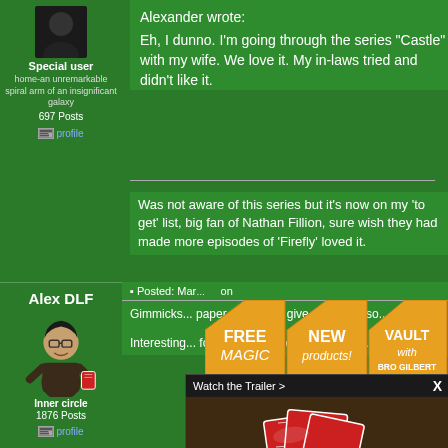Special user
home-an unremarkable spiral arm of an insignificant galaxy
697 Posts
profile
Alexander wrote:
Eh, I dunno. I'm going through the series "Castle" with my wife. We love it. My in-laws tried and didn't like it.
Was not aware of this series but it's now on my 'to get' list, big fan of Nathan Fillion, sure wish they had made more episodes of 'Firefly' loved it.
Use the FORC
Alex DLF
Inner circle
1876 Posts
profile
Posted: Mar... on
Gimmicks... paper pro... they give ... require so...
Interesting... for various... be careful... wallet.
[Figure (infographic): Three orange house/pentagon-shaped advertisement buttons labeled FREE MAGIC (check this >>), NEW products! (right here >>), and VAULT with BRO GILBERT (click here >>)]
[Figure (screenshot): Murphy's Magic popup overlay showing 'Watch the Trailer >' header with X close button, video thumbnail of red playing cards on dark surface, and Murphy's Magic branding footer bar in orange and black]